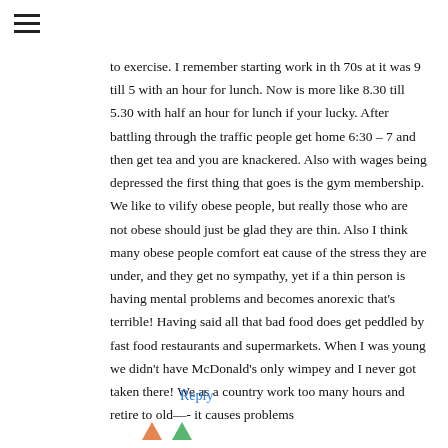to exercise. I remember starting work in th 70s at it was 9 till 5 with an hour for lunch. Now is more like 8.30 till 5.30 with half an hour for lunch if your lucky. After battling through the traffic people get home 6:30 – 7 and then get tea and you are knackered. Also with wages being depressed the first thing that goes is the gym membership. We like to vilify obese people, but really those who are not obese should just be glad they are thin. Also I think many obese people comfort eat cause of the stress they are under, and they get no sympathy, yet if a thin person is having mental problems and becomes anorexic that's terrible! Having said all that bad food does get peddled by fast food restaurants and supermarkets. When I was young we didn't have McDonald's only wimpey and I never got taken there! We as a country work too many hours and retire to old—- it causes problems
Reply